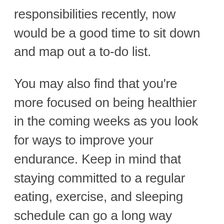responsibilities recently, now would be a good time to sit down and map out a to-do list.
You may also find that you're more focused on being healthier in the coming weeks as you look for ways to improve your endurance. Keep in mind that staying committed to a regular eating, exercise, and sleeping schedule can go a long way toward elevating your energy level.
There is a playful energy in the air as the day comes to a close, so go ahead and let down your hair and have some fun!